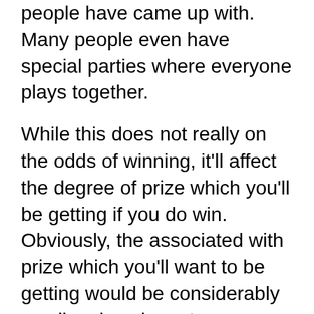people have came up with. Many people even have special parties where everyone plays together.
While this does not really on the odds of winning, it'll affect the degree of prize which you'll be getting if you do win. Obviously, the associated with prize which you'll want to be getting would be considerably smaller since have to see so many other winners! Consequently it is not wise to pick popular volume.
Now that you know which online lottery game gives you the finest odds of winning, use a planned strategy to select your winning numbers and rack up those smaller lotto prizes.